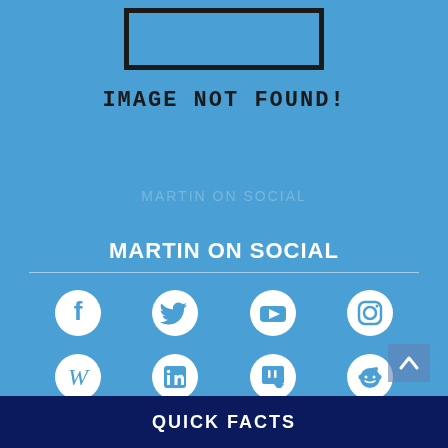[Figure (illustration): Image not found placeholder: a black rectangular frame border on a blue background]
IMAGE NOT FOUND!
MARTIN ON SOCIAL
[Figure (illustration): Row of social media icons: Facebook, Twitter, YouTube, Instagram, Wikipedia, LinkedIn, Twitch, Reddit — white icons on blue background]
QUICK FACTS